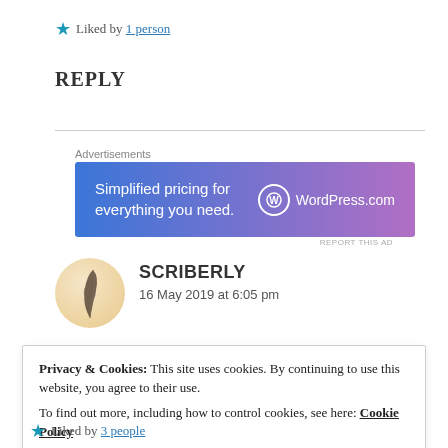★ Liked by 1 person
REPLY
[Figure (infographic): WordPress.com advertisement banner with gradient blue-to-pink background. Text reads 'Simplified pricing for everything you need.' with WordPress.com logo on right.]
SCRIBERLY
16 May 2019 at 6:05 pm
Privacy & Cookies: This site uses cookies. By continuing to use this website, you agree to their use.
To find out more, including how to control cookies, see here: Cookie Policy
Close and accept
★ Liked by 3 people